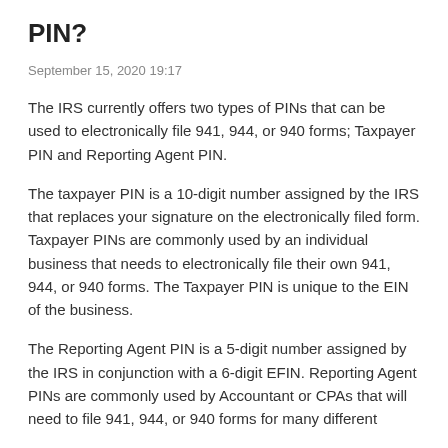PIN?
September 15, 2020 19:17
The IRS currently offers two types of PINs that can be used to electronically file 941, 944, or 940 forms; Taxpayer PIN and Reporting Agent PIN.
The taxpayer PIN is a 10-digit number assigned by the IRS that replaces your signature on the electronically filed form. Taxpayer PINs are commonly used by an individual business that needs to electronically file their own 941, 944, or 940 forms. The Taxpayer PIN is unique to the EIN of the business.
The Reporting Agent PIN is a 5-digit number assigned by the IRS in conjunction with a 6-digit EFIN. Reporting Agent PINs are commonly used by Accountant or CPAs that will need to file 941, 944, or 940 forms for many different